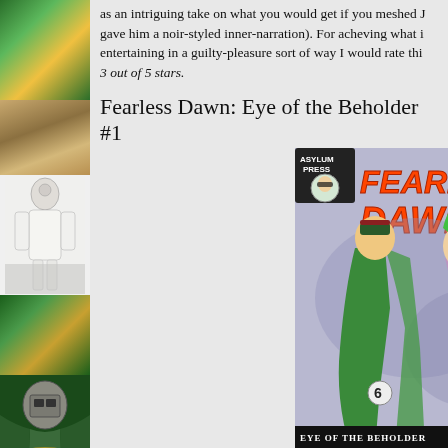[Figure (illustration): Sidebar with comic book cover thumbnails including green-ray design, triangles, white costumed figure against building, green-caped figure, and more]
as an intriguing take on what you would get if you meshed J gave him a noir-styled inner-narration). For acheiving what i entertaining in a guilty-pleasure sort of way I would rate thi 3 out of 5 stars.
Fearless Dawn: Eye of the Beholder #1
[Figure (photo): Comic book cover for Fearless Dawn: Eye of the Beholder #1 published by Asylum Press, showing two female characters facing each other about to kiss, one in green military-style outfit with cape, the other with green hair and heart tattoo, on a purple/grey background]